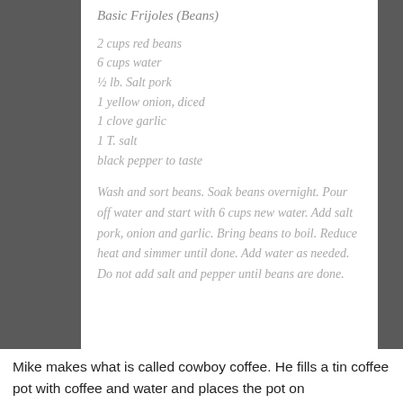Basic Frijoles (Beans)
2 cups red beans
6 cups water
½ lb. Salt pork
1 yellow onion, diced
1 clove garlic
1 T. salt
black pepper to taste
Wash and sort beans. Soak beans overnight. Pour off water and start with 6 cups new water. Add salt pork, onion and garlic. Bring beans to boil. Reduce heat and simmer until done. Add water as needed. Do not add salt and pepper until beans are done.
Mike makes what is called cowboy coffee. He fills a tin coffee pot with coffee and water and places the pot on